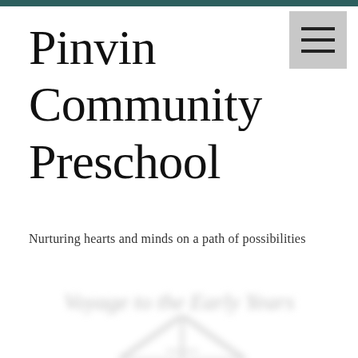Pinvin Community Preschool
Nurturing hearts and minds on a path of possibilities
[Figure (illustration): Blurred partially visible section heading and graphic/logo below the fold, appearing to show text and a triangular or mountain-like shape, rendered in light gray with blur effect]